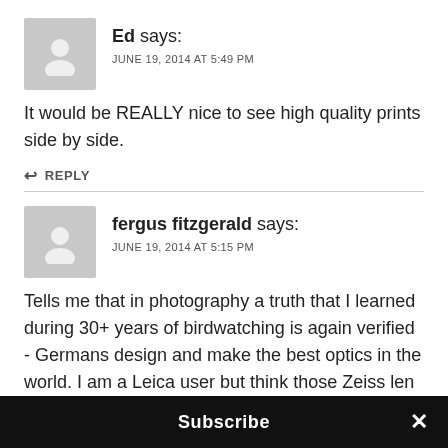Ed says: JUNE 19, 2014 AT 5:49 PM
It would be REALLY nice to see high quality prints side by side.
REPLY
fergus fitzgerald says: JUNE 19, 2014 AT 5:15 PM
Tells me that in photography a truth that I learned during 30+ years of birdwatching is again verified - Germans design and make the best optics in the world. I am a Leica user but think those Zeiss len
Subscribe